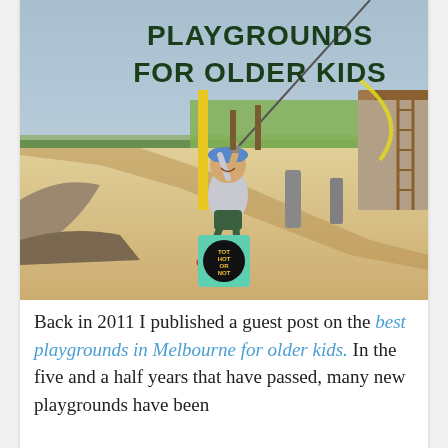[Figure (photo): A child riding a flying fox / zip line in an outdoor playground with wood chip ground cover, standing stones, grass, a climbing frame with rock wall, and yellow poles. Text overlay reads PLAYGROUNDS FOR OLDER KIDS. A Tot Hot or Not logo badge is visible at the bottom center.]
Back in 2011 I published a guest post on the best playgrounds in Melbourne for older kids. In the five and a half years that have passed, many new playgrounds have been